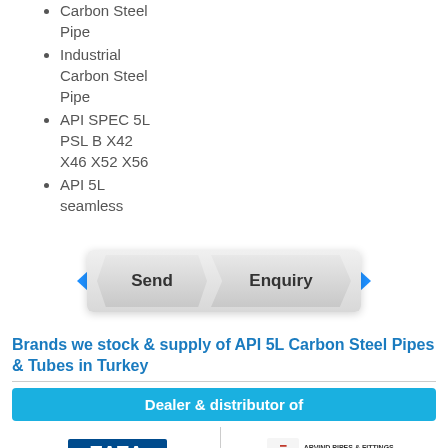Carbon Steel Pipe
Industrial Carbon Steel Pipe
API SPEC 5L PSL B X42 X46 X52 X56
API 5L seamless
[Figure (infographic): Send Enquiry button graphic with blue chevron arrows on left and right and hexagonal/chevron shaped Send and Enquiry labels on a silver/grey background]
Brands we stock & supply of API 5L Carbon Steel Pipes & Tubes in Turkey
Dealer & distributor of
[Figure (logo): TATA Precision Tubes logo - blue background with TATA in white bold letters and PRECISION TUBES below]
[Figure (logo): Arvind Pipes & Fittings Industries Pvt. Ltd. logo - red stylized 'a' icon with company name text, An ISO 9001:2008 Company]
[Figure (logo): Circular concentric rings logo in blue]
[Figure (logo): TATA STRUCTURA logo with roof/triangle icon above text]